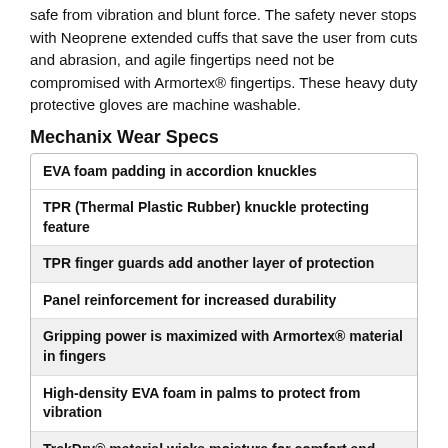safe from vibration and blunt force. The safety never stops with Neoprene extended cuffs that save the user from cuts and abrasion, and agile fingertips need not be compromised with Armortex® fingertips. These heavy duty protective gloves are machine washable.
Mechanix Wear Specs
EVA foam padding in accordion knuckles
TPR (Thermal Plastic Rubber) knuckle protecting feature
TPR finger guards add another layer of protection
Panel reinforcement for increased durability
Gripping power is maximized with Armortex® material in fingers
High-density EVA foam in palms to protect from vibration
TrekDry® material wicks moisture for comfort and odor control
Machine washable
Mechanix Wear SKUs
SP2-91-008, SP2-91-009, SP2-91-010, SP2-91-011, SP2-91-012